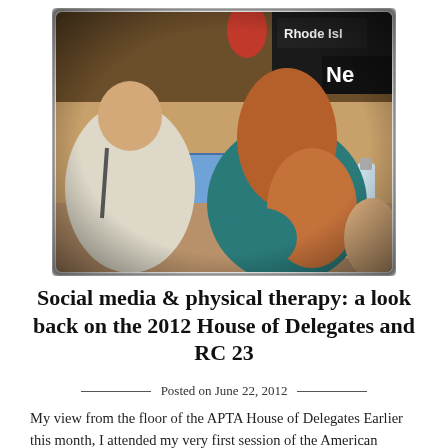[Figure (photo): Photo taken from behind two people sitting at a conference table. A man in a light shirt on the left and a woman with reddish-brown hair wearing a teal top on the right, looking at a laptop. Conference setting with signs reading 'Rhode Isl' and 'Ne' visible in the background.]
Social media & physical therapy: a look back on the 2012 House of Delegates and RC 23
Posted on June 22, 2012
My view from the floor of the APTA House of Delegates Earlier this month, I attended my very first session of the American Physical Therapy Association's House of